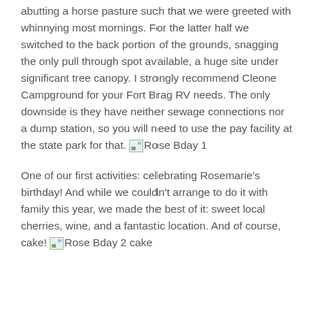abutting a horse pasture such that we were greeted with whinnying most mornings.  For the latter half we switched to the back portion of the grounds, snagging the only pull through spot available, a huge site under significant tree canopy.  I strongly recommend Cleone Campground for your Fort Brag RV needs.  The only downside is they have neither sewage connections nor a dump station, so you will need to use the pay facility at the state park for that. [Rose Bday 1]
One of our first activities: celebrating Rosemarie's birthday!  And while we couldn't arrange to do it with family this year, we made the best of it: sweet local cherries, wine, and a fantastic location. And of course, cake! [Rose Bday 2 cake]